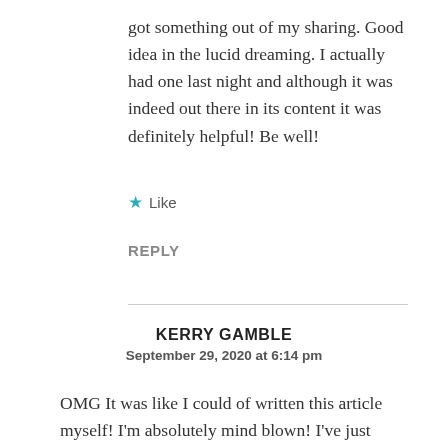got something out of my sharing. Good idea in the lucid dreaming. I actually had one last night and although it was indeed out there in its content it was definitely helpful! Be well!
★ Like
REPLY
KERRY GAMBLE
September 29, 2020 at 6:14 pm
OMG It was like I could of written this article myself! I'm absolutely mind blown! I've just only found out that I have this and went through all the emotions you described in the